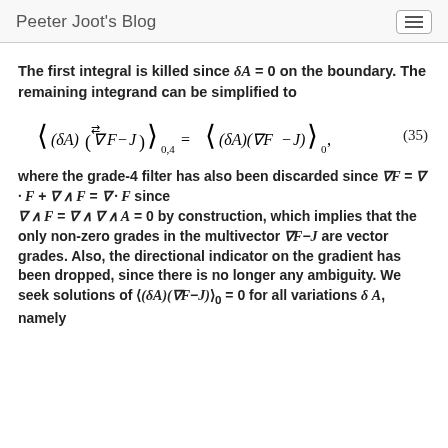Peeter Joot's Blog
The first integral is killed since δA = 0 on the boundary. The remaining integrand can be simplified to
where the grade-4 filter has also been discarded since ∇F = ∇·F + ∇∧F = ∇·F since ∇∧F = ∇∧∇∧A = 0 by construction, which implies that the only non-zero grades in the multivector ∇F−J are vector grades. Also, the directional indicator on the gradient has been dropped, since there is no longer any ambiguity. We seek solutions of ⟨(δA)(∇F−J)⟩₀ = 0 for all variations δA, namely